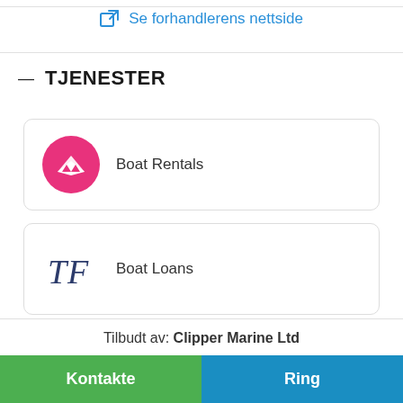Se forhandlerens nettside
— TJENESTER
Boat Rentals
Boat Loans
Tilbudt av: Clipper Marine Ltd
Kontakte
Ring